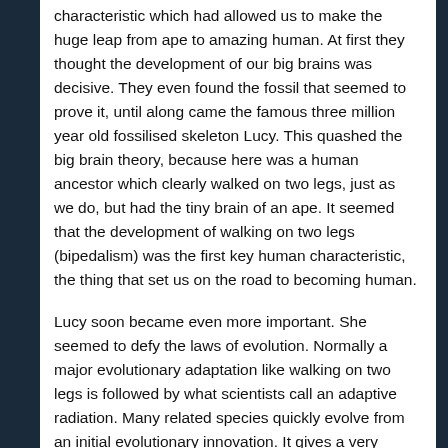characteristic which had allowed us to make the huge leap from ape to amazing human. At first they thought the development of our big brains was decisive. They even found the fossil that seemed to prove it, until along came the famous three million year old fossilised skeleton Lucy. This quashed the big brain theory, because here was a human ancestor which clearly walked on two legs, just as we do, but had the tiny brain of an ape. It seemed that the development of walking on two legs (bipedalism) was the first key human characteristic, the thing that set us on the road to becoming human.
Lucy soon became even more important. She seemed to defy the laws of evolution. Normally a major evolutionary adaptation like walking on two legs is followed by what scientists call an adaptive radiation. Many related species quickly evolve from an initial evolutionary innovation. It gives a very bushy evolutionary family tree, with many different but related species. Scientists know that the